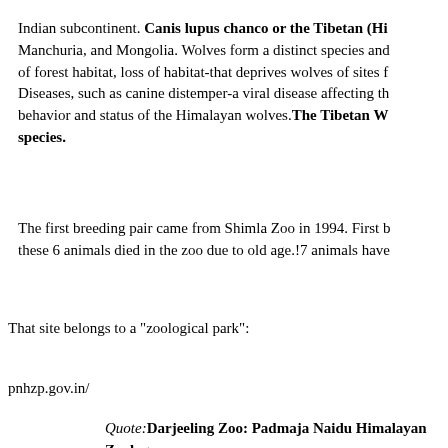Indian subcontinent. Canis lupus chanco or the Tibetan (Hi... Manchuria, and Mongolia. Wolves form a distinct species and... of forest habitat, loss of habitat-that deprives wolves of sites f... Diseases, such as canine distemper-a viral disease affecting th... behavior and status of the Himalayan wolves. The Tibetan W... species.
The first breeding pair came from Shimla Zoo in 1994. First b... these 6 animals died in the zoo due to old age.!7 animals have...
That site belongs to a "zoological park":
pnhzp.gov.in/
Quote: Darjeeling Zoo: Padmaja Naidu Himalayan Zoolog...